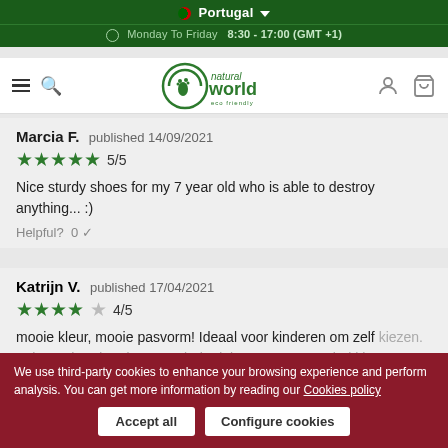Portugal  Monday To Friday  8:30 - 17:00 (GMT +1)
[Figure (logo): Natural World eco friendly logo with circular footprint icon]
Marcia F. published 14/09/2021
★★★★★ 5/5
Nice sturdy shoes for my 7 year old who is able to destroy anything... :)
Helpful? 0 ✓
Katrijn V. published 17/04/2021
★★★★☆ 4/5
mooie kleur, mooie pasvorm! Ideaal voor kinderen om zelf...maattabel klopt helemaa...
Helpful? 0 ✓
We use third-party cookies to enhance your browsing experience and perform analysis. You can get more information by reading our Cookies policy
Accept all   Configure cookies